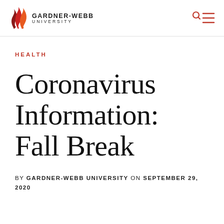[Figure (logo): Gardner-Webb University logo with flame icon and text 'GARDNER-WEBB UNIVERSITY']
HEALTH
Coronavirus Information: Fall Break
BY GARDNER-WEBB UNIVERSITY ON SEPTEMBER 29, 2020